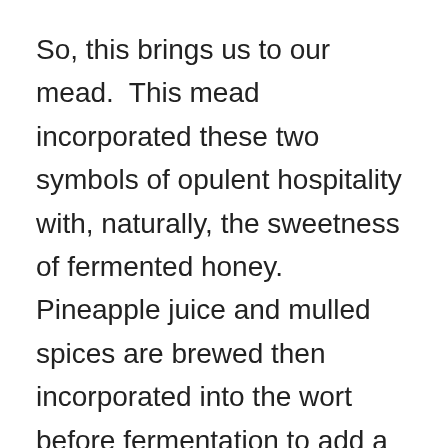So, this brings us to our mead. This mead incorporated these two symbols of opulent hospitality with, naturally, the sweetness of fermented honey. Pineapple juice and mulled spices are brewed then incorporated into the wort before fermentation to add a little complexity of taste to our champaign finished natural mead.
With the incorporation of both the